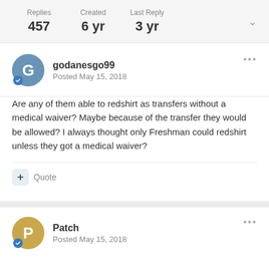Replies: 457  Created: 6 yr  Last Reply: 3 yr
godanesgo99
Posted May 15, 2018
Are any of them able to redshirt as transfers without a medical waiver? Maybe because of the transfer they would be allowed? I always thought only Freshman could redshirt unless they got a medical waiver?
+ Quote
Patch
Posted May 15, 2018